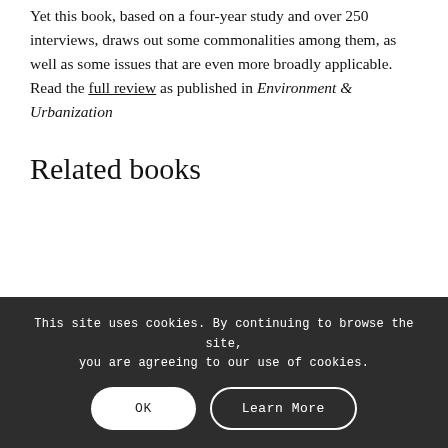Yet this book, based on a four-year study and over 250 interviews, draws out some commonalities among them, as well as some issues that are even more broadly applicable. Read the full review as published in Environment & Urbanization
Related books
This site uses cookies. By continuing to browse the site, you are agreeing to our use of cookies.